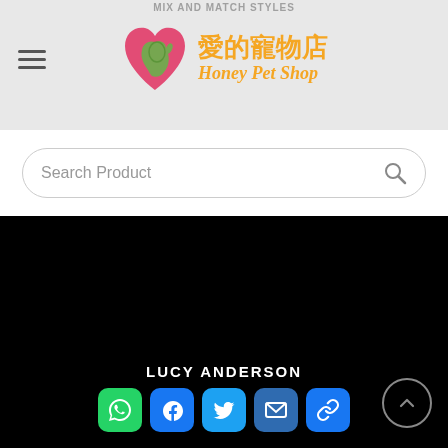MIX AND MATCH STYLES
[Figure (logo): Honey Pet Shop logo with heart and animal silhouette in red/green, Chinese text '愛的寵物店' and 'Honey Pet Shop' in orange italic]
Search Product
[Figure (screenshot): Black background area showing a product or video content]
LUCY ANDERSON
[Figure (other): Social share buttons: WhatsApp (green), Facebook (blue), Twitter (blue), Email (blue), Link (blue)]